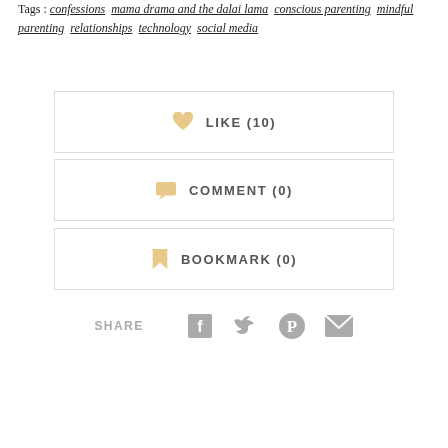Tags : confessions  mama drama and the dalai lama  conscious parenting  mindful parenting  relationships  technology  social media
[Figure (other): LIKE (10) button with heart icon, bordered rectangle]
[Figure (other): COMMENT (0) button with speech bubble icon, bordered rectangle]
[Figure (other): BOOKMARK (0) button with bookmark icon, bordered rectangle]
SHARE
[Figure (other): Social share icons: Facebook, Twitter, Pinterest, Email]